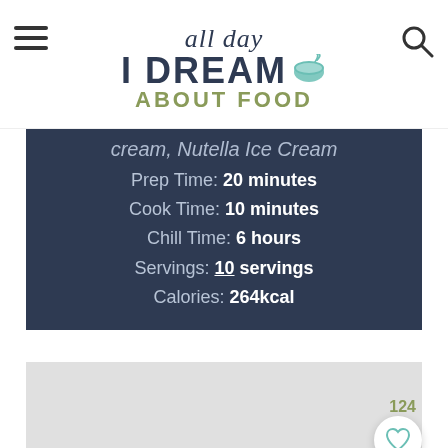all day I DREAM ABOUT FOOD
cream, Nutella Ice Cream
Prep Time: 20 minutes
Cook Time: 10 minutes
Chill Time: 6 hours
Servings: 10 servings
Calories: 264kcal
[Figure (other): Light gray image placeholder area below the recipe info box]
124
[Figure (other): Heart/favorite button circle icon]
[Figure (other): Bottom content area, light gray]